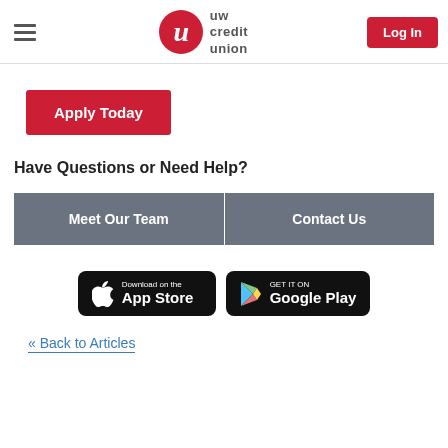UW Credit Union — Log In
Apply Today
Have Questions or Need Help?
Meet Our Team | Contact Us
[Figure (screenshot): App Store and Google Play download badges]
« Back to Articles